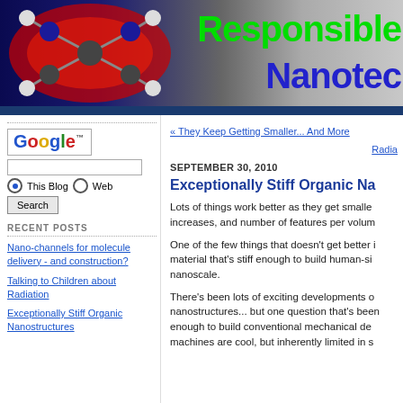[Figure (illustration): Header banner with molecule structure image on left (dark blue/red background with molecular ball-and-stick model), text 'Responsible' in green and 'Nanotec' in blue on gradient background]
Responsible Nanotec
[Figure (other): Google search widget with Google logo, text input box, This Blog / Web radio buttons, and Search button]
RECENT POSTS
Nano-channels for molecule delivery - and construction?
Talking to Children about Radiation
Exceptionally Stiff Organic Nanostructures
« They Keep Getting Smaller... And More
Radia
SEPTEMBER 30, 2010
Exceptionally Stiff Organic Na
Lots of things work better as they get smaller: increases, and number of features per volum
One of the few things that doesn't get better i material that's stiff enough to build human-si nanoscale.
There's been lots of exciting developments o nanostructures... but one question that's been enough to build conventional mechanical de machines are cool, but inherently limited in s